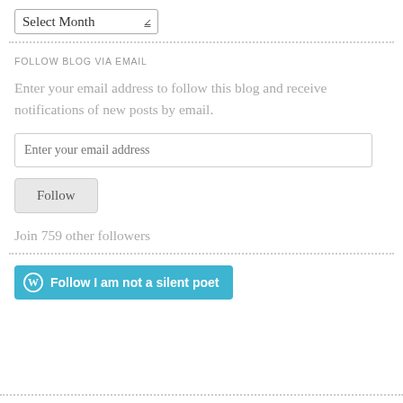[Figure (screenshot): Select Month dropdown widget]
FOLLOW BLOG VIA EMAIL
Enter your email address to follow this blog and receive notifications of new posts by email.
Enter your email address
Follow
Join 759 other followers
[Figure (screenshot): WordPress Follow button: Follow I am not a silent poet]